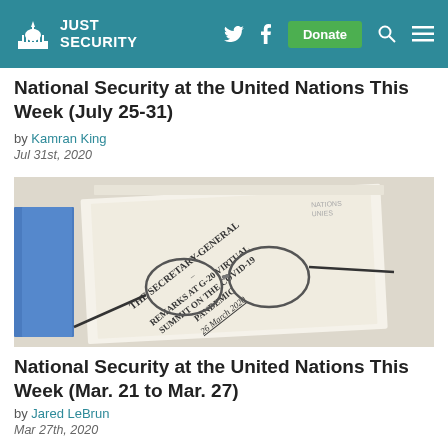JUST SECURITY
National Security at the United Nations This Week (July 25-31)
by Kamran King
Jul 31st, 2020
[Figure (photo): Photo of UN Secretary-General document with glasses resting on top. Document reads: THE SECRETARY-GENERAL – REMARKS AT G-20 VIRTUAL SUMMIT ON THE COVID-19 PANDEMIC 26 March 2020]
National Security at the United Nations This Week (Mar. 21 to Mar. 27)
by Jared LeBrun
Mar 27th, 2020